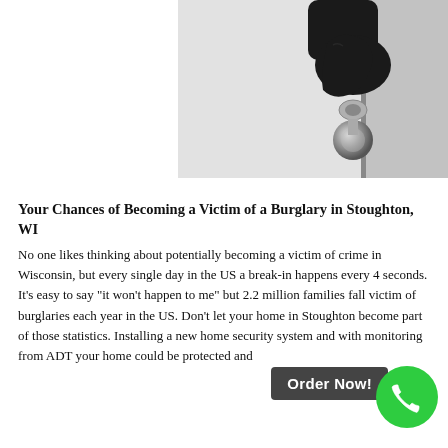[Figure (photo): Black and white photo of a gloved hand reaching around a door edge, gripping a door knob — suggesting a burglar breaking in.]
Your Chances of Becoming a Victim of a Burglary in Stoughton, WI
No one likes thinking about potentially becoming a victim of crime in Wisconsin, but every single day in the US a break-in happens every 4 seconds. It’s easy to say “it won’t happen to me” but 2.2 million families fall victim of burglaries each year in the US. Don’t let your home in Stoughton become part of those statistics. Installing a new home security system and with monitoring from ADT your home could be protected and